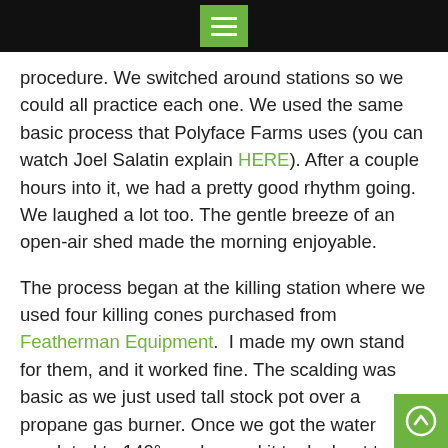[menu icon]
procedure. We switched around stations so we could all practice each one. We used the same basic process that Polyface Farms uses (you can watch Joel Salatin explain HERE). After a couple hours into it, we had a pretty good rhythm going. We laughed a lot too. The gentle breeze of an open-air shed made the morning enjoyable.
The process began at the killing station where we used four killing cones purchased from Featherman Equipment.  I made my own stand for them, and it worked fine. The scalding was basic as we just used tall stock pot over a propane gas burner. Once we got the water regulated to 140°, we learned it took about twenty dunks to get the bird properly scalded. The